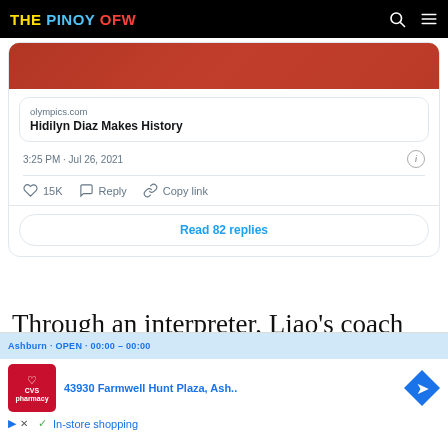THE PINOY OFW
[Figure (screenshot): Tweet card screenshot showing a link preview from olympics.com titled 'Hidilyn Diaz Makes History', timestamp '3:25 PM · Jul 26, 2021', with 15K likes, Reply, Copy link actions, and a 'Read 82 replies' button]
Through an interpreter, Liao's coach stated that his ward had no
[Figure (infographic): Advertisement overlay: CVS Pharmacy ad showing '43930 Farmwell Hunt Plaza, Ash..' with map icon and In-store shopping label]